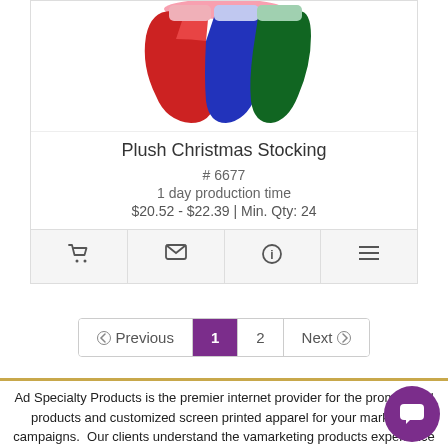[Figure (photo): Colorful plush Christmas stockings in red, blue, and green colors shown from top]
Plush Christmas Stocking
# 6677
1 day production time
$20.52 - $22.39 | Min. Qty: 24
[Figure (infographic): Four action icon buttons: shopping cart, email/envelope, info, and list/details]
[Figure (infographic): Pagination controls: Previous arrow, page 1 (active, purple), page 2, Next arrow]
Ad Specialty Products is the premier internet provider for the promotional products and customized screen printed apparel for your marketing campaigns. Our clients understand the value of marketing products experience because of our unrivaled competitive product pricing, selection, and outstanding customer service.